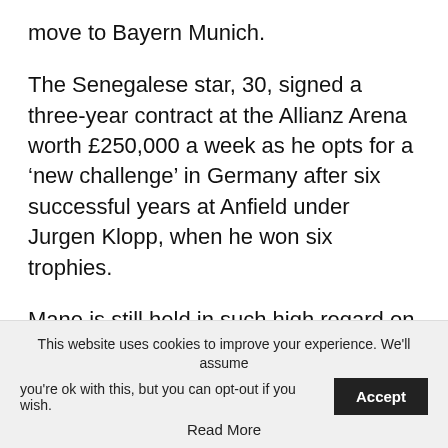move to Bayern Munich.
The Senegalese star, 30, signed a three-year contract at the Allianz Arena worth £250,000 a week as he opts for a ‘new challenge’ in Germany after six successful years at Anfield under Jurgen Klopp, when he won six trophies.
Mane is still held in such high regard on Merseyside and invited the club website for an interview at his home in Mallorca, where he spoke about his six-year stay and was first asked how it felt to no longer be a Liverpool player, to
This website uses cookies to improve your experience. We'll assume you're ok with this, but you can opt-out if you wish.
Read More